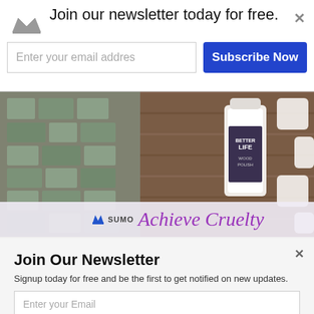Join our newsletter today for free.
Enter your email addres
Subscribe Now
[Figure (photo): Product photo showing Better Life Wood Polish bottle on a wooden surface with white keyboard keys, and Sumo logo with 'Achieve Cruelty' text overlay]
Join Our Newsletter
Signup today for free and be the first to get notified on new updates.
Enter your Email
Subscribe Now